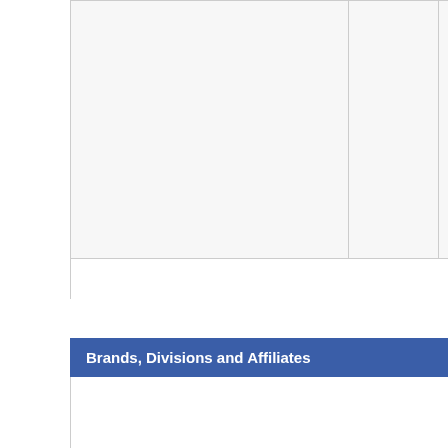|  |  |  |
| --- | --- | --- |
|  |  |  |
| Brands, Divisions and Affiliates | Top Salaries |
| --- | --- |
|  | Name |
|  |  |